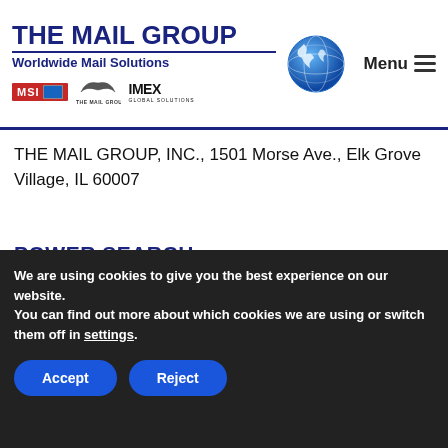[Figure (logo): The Mail Group logo with globe, MSI badge, The Mail Group bird logo, and IMEX Global Solutions wordmark, plus Menu icon]
THE MAIL GROUP, INC., 1501 Morse Ave., Elk Grove Village, IL 60007
POWER SEARCH
SEARCH HERE
SITE INFORMATION
We are using cookies to give you the best experience on our website.
You can find out more about which cookies we are using or switch them off in settings.
Accept
Reject